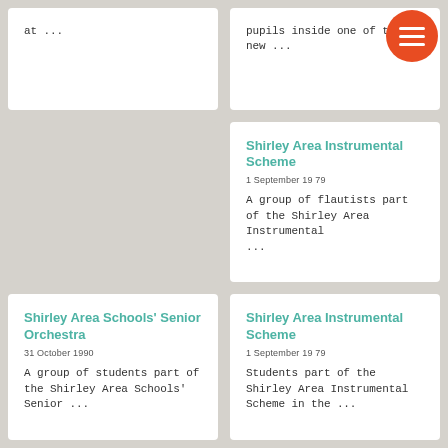[Figure (other): Orange circular hamburger menu button in top right corner]
at ...
pupils inside one of the new ...
Shirley Area Instrumental Scheme
1 September 1979
A group of flautists part of the Shirley Area Instrumental ...
Shirley Area Schools' Senior Orchestra
31 October 1990
A group of students part of the Shirley Area Schools' Senior ...
Shirley Area Instrumental Scheme
1 September 1979
Students part of the Shirley Area Instrumental Scheme in the ...